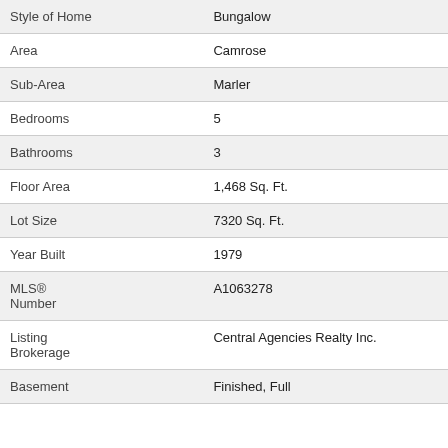| Field | Value |
| --- | --- |
| Style of Home | Bungalow |
| Area | Camrose |
| Sub-Area | Marler |
| Bedrooms | 5 |
| Bathrooms | 3 |
| Floor Area | 1,468 Sq. Ft. |
| Lot Size | 7320 Sq. Ft. |
| Year Built | 1979 |
| MLS® Number | A1063278 |
| Listing Brokerage | Central Agencies Realty Inc. |
| Basement | Finished, Full |